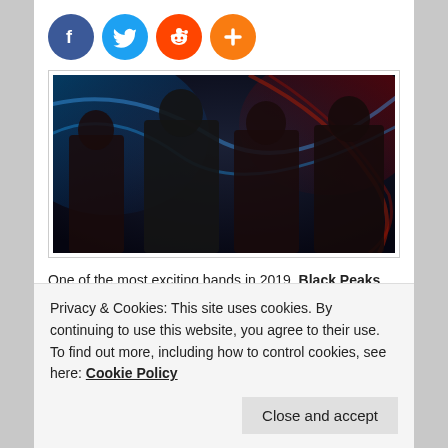[Figure (other): Social sharing icons: Facebook (dark blue circle with f), Twitter (light blue circle with bird), Reddit (orange circle with alien), and a plus/share button (orange circle with +)]
[Figure (photo): Band photo of four young men standing together against a dark background with blurred colorful lights (blue and red streaks). They are wearing casual clothes, including plaid/flannel shirts.]
One of the most exciting bands in 2019. Black Peaks
Privacy & Cookies: This site uses cookies. By continuing to use this website, you agree to their use.
To find out more, including how to control cookies, see here: Cookie Policy
Close and accept
sophomore album All That Divides. The band will be